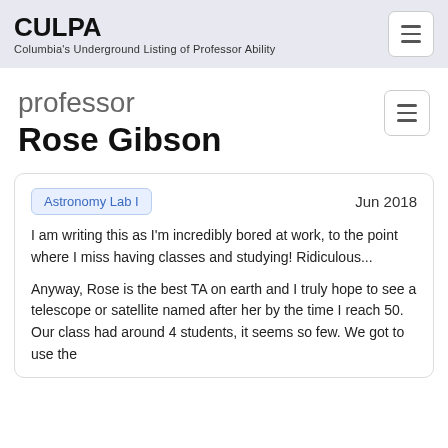CULPA — Columbia's Underground Listing of Professor Ability
professor Rose Gibson
Astronomy Lab I   Jun 2018
I am writing this as I'm incredibly bored at work, to the point where I miss having classes and studying! Ridiculous...
Anyway, Rose is the best TA on earth and I truly hope to see a telescope or satellite named after her by the time I reach 50. Our class had around 4 students, it seems so few. We got to use the